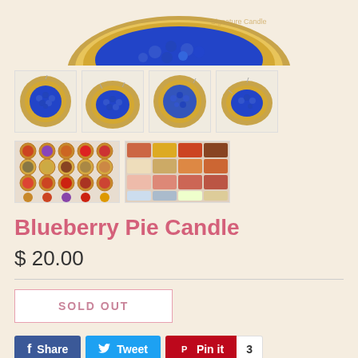[Figure (photo): Main product image showing a blueberry pie candle with golden crust and blue berry filling, partially cropped at top]
[Figure (photo): Four thumbnail images of blueberry pie candle from different angles]
[Figure (photo): Two thumbnail images: grid of various pie candles and a colorful grid display]
Blueberry Pie Candle
$ 20.00
SOLD OUT
Share
Tweet
Pin it
3